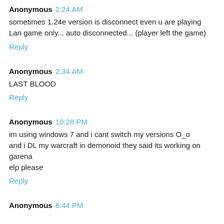Anonymous 2:24 AM
sometimes 1.24e version is disconnect even u are playing Lan game only... auto disconnected... (player left the game)
Reply
Anonymous 2:34 AM
LAST BLOOD
Reply
Anonymous 10:28 PM
im using windows 7 and i cant switch my versions O_o and i DL my warcraft in demonoid they said its working on garena elp please
Reply
Anonymous 8:44 PM